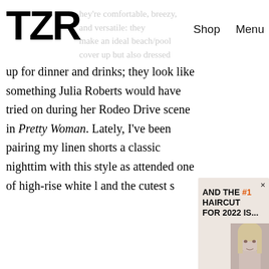TZR  Shop  Menu
hey're comfortable, breezy, and versatile: they make an ideal beach/pool cover up but also dressed up for dinner and drinks; they look like something Julia Roberts would have tried on during her Rodeo Drive scene in Pretty Woman. Lately, I've been pairing my linen shorts  a classic nighttim  with this style as  attended one of  high-rise white l  and the cutest s
[Figure (screenshot): Popup advertisement: 'AND THE #1 HAIRCUT FOR 2022 IS...' with photo of blonde woman, and email signup form 'Join The List — Sign up for TZR's exclusive email list to uncover this season's top trends' with Email address field and Subscribe button]